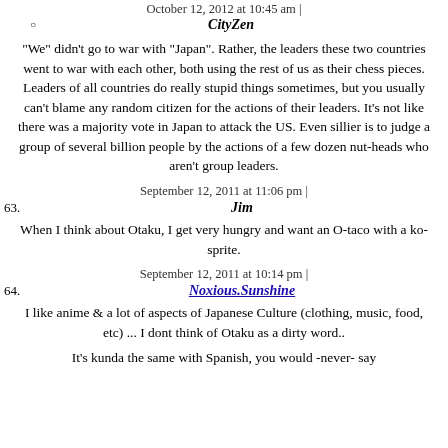October 12, 2012 at 10:45 am |
CityZen
"We" didn't go to war with "Japan". Rather, the leaders these two countries went to war with each other, both using the rest of us as their chess pieces. Leaders of all countries do really stupid things sometimes, but you usually can't blame any random citizen for the actions of their leaders. It's not like there was a majority vote in Japan to attack the US. Even sillier is to judge a group of several billion people by the actions of a few dozen nut-heads who aren't group leaders.
September 12, 2011 at 11:06 pm |
63.   Jim
When I think about Otaku, I get very hungry and want an O-taco with a ko-sprite.
September 12, 2011 at 10:14 pm |
64.   Noxious.Sunshine
I like anime & a lot of aspects of Japanese Culture (clothing, music, food, etc) ... I dont think of Otaku as a dirty word..
It's kunda the same with Spanish, you would -never- say